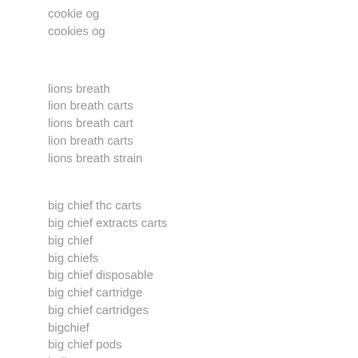cookie og
cookies og
lions breath
lion breath carts
lions breath cart
lion breath carts
lions breath strain
big chief thc carts
big chief extracts carts
big chief
big chiefs
big chief disposable
big chief cartridge
big chief cartridges
bigchief
big chief pods
indica carts
how much are carts
buddies carts